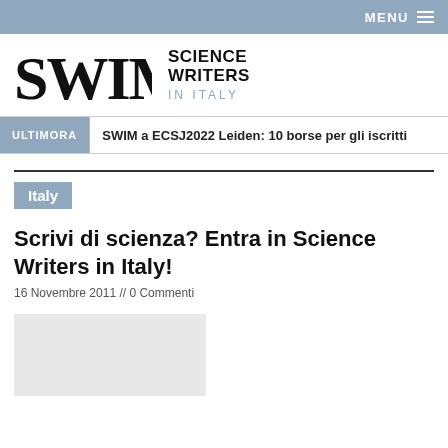MENU
[Figure (logo): SWIM Science Writers in Italy logo with stylized SWIM letters and text]
SWIM a ECSJ2022 Leiden: 10 borse per gli iscritti
Italy
Scrivi di scienza? Entra in Science Writers in Italy!
16 Novembre 2011 // 0 Commenti
[Figure (photo): Article image placeholder (light gray)]